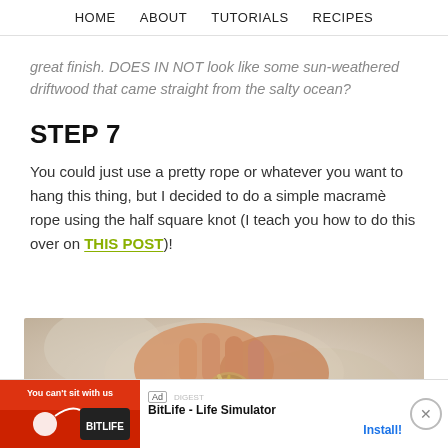HOME  ABOUT  TUTORIALS  RECIPES
great finish. DOES IN NOT look like some sun-weathered driftwood that came straight from the salty ocean?
STEP 7
You could just use a pretty rope or whatever you want to hang this thing, but I decided to do a simple macramè rope using the half square knot (I teach you how to do this over on THIS POST)!
[Figure (photo): Hands holding a small wooden ring with rope, macrame knot technique demonstration]
[Figure (other): Advertisement banner: BitLife - Life Simulator app ad with Install button and close X button]